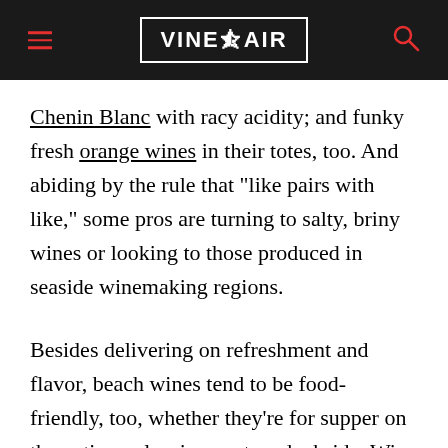VINEPAIR
Chenin Blanc with racy acidity; and funky fresh orange wines in their totes, too. And abiding by the rule that “like pairs with like,” some pros are turning to salty, briny wines or looking to those produced in seaside winemaking regions.
Besides delivering on refreshment and flavor, beach wines tend to be food-friendly, too, whether they’re for supper on the patio or slurping oysters dockside. Wine experts take format into consideration, too, from value-driven, 1-liter